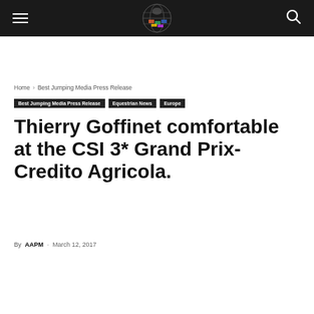Best Jumping Media — site header with logo, menu, and search
Home › Best Jumping Media Press Release
Best Jumping Media Press Release  Equestrian News  Europe
Thierry Goffinet comfortable at the CSI 3* Grand Prix-Credito Agricola.
By AAPM - March 12, 2017